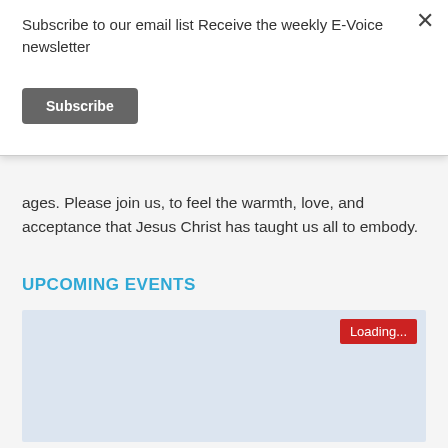Subscribe to our email list Receive the weekly E-Voice newsletter
Subscribe
ages. Please join us, to feel the warmth, love, and acceptance that Jesus Christ has taught us all to embody.
UPCOMING EVENTS
[Figure (other): Calendar loading area with a red Loading... button in the top right corner, pale blue background]
Loading...